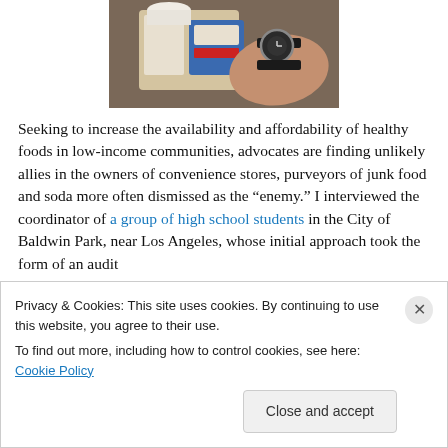[Figure (photo): Photo of a person's hand wearing a watch, holding grocery/food items including what appears to be milk cartons or food packaging]
Seeking to increase the availability and affordability of healthy foods in low-income communities, advocates are finding unlikely allies in the owners of convenience stores, purveyors of junk food and soda more often dismissed as the “enemy.” I interviewed the coordinator of a group of high school students in the City of Baldwin Park, near Los Angeles, whose initial approach took the form of an audit
Privacy & Cookies: This site uses cookies. By continuing to use this website, you agree to their use.
To find out more, including how to control cookies, see here: Cookie Policy